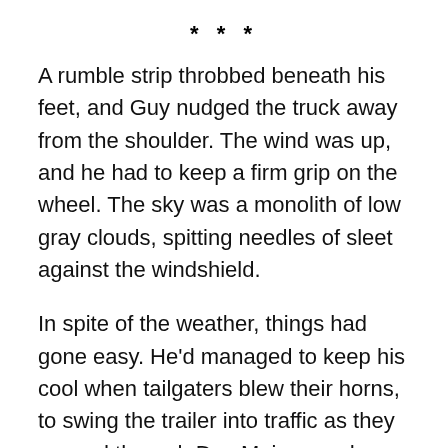***
A rumble strip throbbed beneath his feet, and Guy nudged the truck away from the shoulder. The wind was up, and he had to keep a firm grip on the wheel. The sky was a monolith of low gray clouds, spitting needles of sleet against the windshield.
In spite of the weather, things had gone easy. He'd managed to keep his cool when tailgaters blew their horns, to swing the trailer into traffic as they passed through Des Moines and Omaha. Taking charge of a twenty-ton rig, sending it hurtling down I-80, it might have intimidated another man. But back in Vietnam he'd been the driver for a Patton tank, crashing through the jungle, taking point on thunder